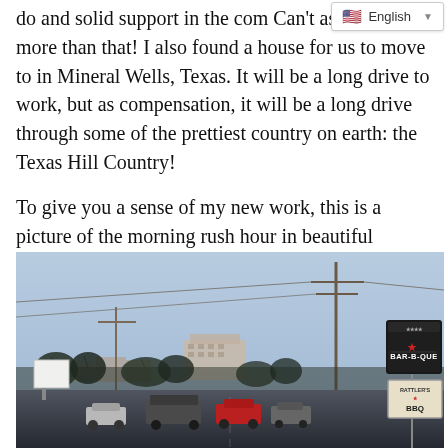do and solid support in the com... Can't ask for much more than that! I also found a house for us to move to in Mineral Wells, Texas. It will be a long drive to work, but as compensation, it will be a long drive through some of the prettiest country on earth: the Texas Hill Country!
To give you a sense of my new work, this is a picture of the morning rush hour in beautiful downtown Cisco, Texas.
[Figure (photo): Street-level photograph of downtown Cisco, Texas showing a main road with sparse traffic, utility poles, bare winter trees, distant historic buildings, and BBQ restaurant signs on the right side against a blue-grey sky.]